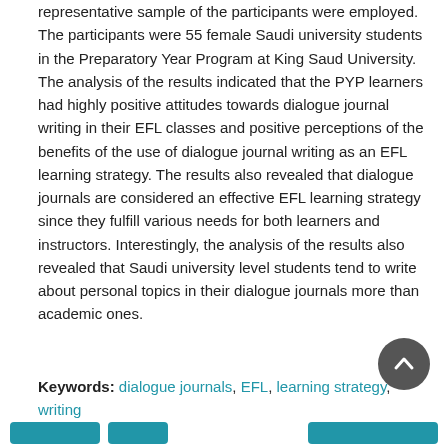representative sample of the participants were employed. The participants were 55 female Saudi university students in the Preparatory Year Program at King Saud University. The analysis of the results indicated that the PYP learners had highly positive attitudes towards dialogue journal writing in their EFL classes and positive perceptions of the benefits of the use of dialogue journal writing as an EFL learning strategy. The results also revealed that dialogue journals are considered an effective EFL learning strategy since they fulfill various needs for both learners and instructors. Interestingly, the analysis of the results also revealed that Saudi university level students tend to write about personal topics in their dialogue journals more than academic ones.
Keywords: dialogue journals, EFL, learning strategy, writing